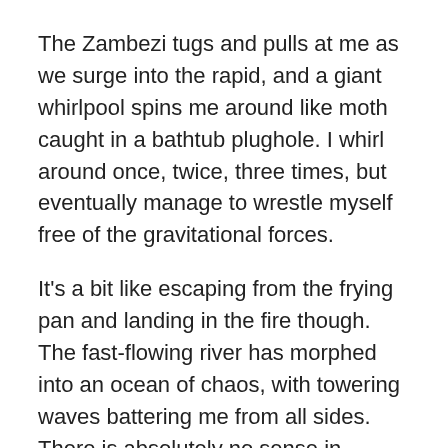The Zambezi tugs and pulls at me as we surge into the rapid, and a giant whirlpool spins me around like moth caught in a bathtub plughole. I whirl around once, twice, three times, but eventually manage to wrestle myself free of the gravitational forces.
It's a bit like escaping from the frying pan and landing in the fire though. The fast-flowing river has morphed into an ocean of chaos, with towering waves battering me from all sides. There is absolutely no sense in fighting this water monster though and the only way to make it through is to gulp in huge gasps of air while clinging on like a drowned rat.
The next rapid is less intense, so I grab my camera (in its waterproof housing) from Dup and tell him to stick close to me while we surge